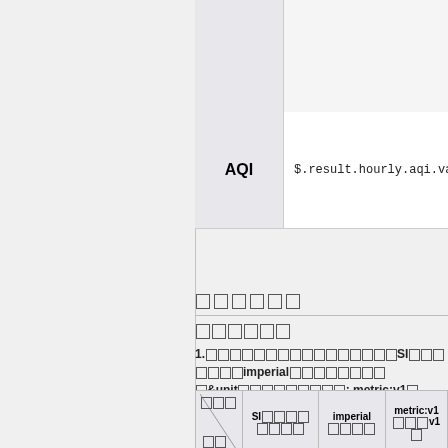| Field | JSONPath |
| --- | --- |
|  |  |
|  |  |
| AQI | $.result.hourly.aqi.value |
□□□□□□
□□□□□□
1.□□□□□□□□□□□□□□□□SI□□□□□□□□imperial□□□□□□□□□&unit□□□□□□□□□□: metric:v1□metric:v2□:
| □□□□□□ | SI□□□□□□□□ | imperial □□□□ | metric:v1 □□□v1□ |
| --- | --- | --- | --- |
| □/□ | □□/□□ | □□□□□□ |